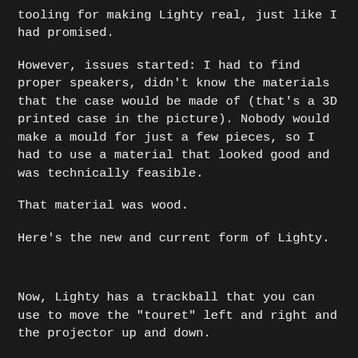tooling for making Lighty real, just like I had promised.
However, issues started: I had to find proper speakers, didn't know the materials that the case would be made of (that's a 3D printed case in the picture). Nobody would make a mould for just a few pieces, so I had to use a material that looked good and was technically feasible.
That material was wood.
Here's the new and current form of Lighty.
Now, Lighty has a trackball that you can use to move the "touret" left and right and the projector up and down.
Two I2C laser sensors (VL53L0X) were used to track hand movement and follow it, and two 3W speakers+bass membranes below them actually sounded pretty good.
This was a more simplified version of Lighty, just because a